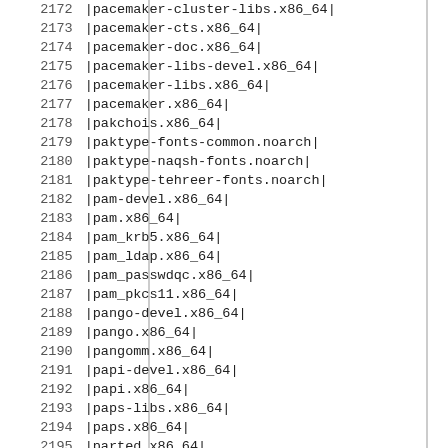| # | Package |
| --- | --- |
| 2172 | |pacemaker-cluster-libs.x86_64| |
| 2173 | |pacemaker-cts.x86_64| |
| 2174 | |pacemaker-doc.x86_64| |
| 2175 | |pacemaker-libs-devel.x86_64| |
| 2176 | |pacemaker-libs.x86_64| |
| 2177 | |pacemaker.x86_64| |
| 2178 | |pakchois.x86_64| |
| 2179 | |paktype-fonts-common.noarch| |
| 2180 | |paktype-naqsh-fonts.noarch| |
| 2181 | |paktype-tehreer-fonts.noarch| |
| 2182 | |pam-devel.x86_64| |
| 2183 | |pam.x86_64| |
| 2184 | |pam_krb5.x86_64| |
| 2185 | |pam_ldap.x86_64| |
| 2186 | |pam_passwdqc.x86_64| |
| 2187 | |pam_pkcs11.x86_64| |
| 2188 | |pango-devel.x86_64| |
| 2189 | |pango.x86_64| |
| 2190 | |pangomm.x86_64| |
| 2191 | |papi-devel.x86_64| |
| 2192 | |papi.x86_64| |
| 2193 | |paps-libs.x86_64| |
| 2194 | |paps.x86_64| |
| 2195 | |parted.x86_64| |
| 2196 | |passivetex.noarch| |